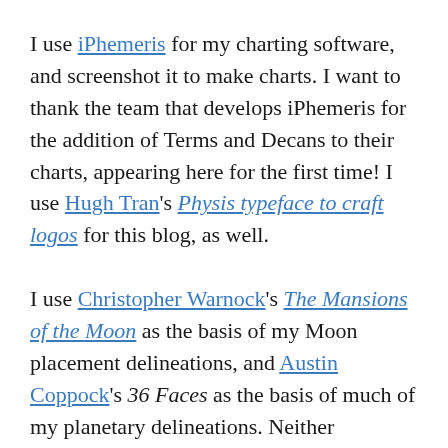I use iPhemeris for my charting software, and screenshot it to make charts. I want to thank the team that develops iPhemeris for the addition of Terms and Decans to their charts, appearing here for the first time! I use Hugh Tran's Physis typeface to craft logos for this blog, as well.
I use Christopher Warnock's The Mansions of the Moon as the basis of my Moon placement delineations, and Austin Coppock's 36 Faces as the basis of much of my planetary delineations. Neither gentleman endorses me. My own book, A Full Volume of Splendour and Starlight, is now